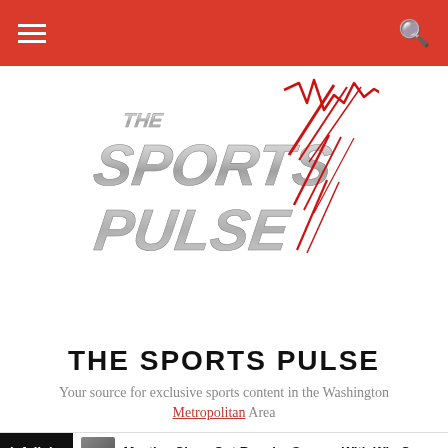Navigation bar with hamburger menu and search icon
[Figure (logo): The Sports Pulse logo — metallic italic text reading THE SPORTS PULSE with red lightning bolt / heartbeat line graphic]
THE SPORTS PULSE
Your source for exclusive sports content in the Washington Metropolitan Area
[Figure (screenshot): Infolinks advertisement bar with headline: Mystics Close Out Regular Season With Win Ov...]
[Figure (screenshot): Ad overlay: Pet Food, Products, Supplies at Low Prices - Pay the lowest prices on pet supplies at Chewy.com, chewy.com, with thumbnail image, close button, and forward arrow circle]